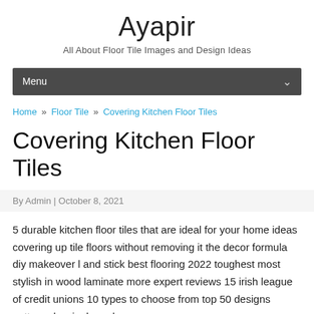Ayapir
All About Floor Tile Images and Design Ideas
Menu
Home » Floor Tile » Covering Kitchen Floor Tiles
Covering Kitchen Floor Tiles
By Admin | October 8, 2021
5 durable kitchen floor tiles that are ideal for your home ideas covering up tile floors without removing it the decor formula diy makeover l and stick best flooring 2022 toughest most stylish in wood laminate more expert reviews 15 irish league of credit unions 10 types to choose from top 50 designs patterns herringbone how